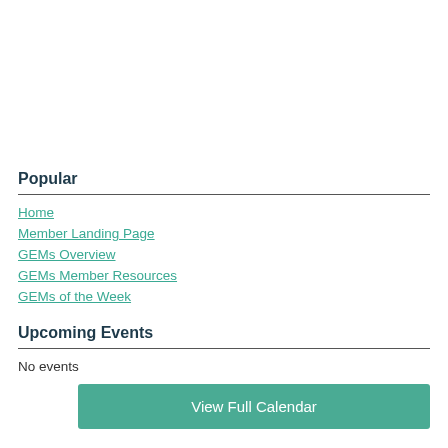Popular
Home
Member Landing Page
GEMs Overview
GEMs Member Resources
GEMs of the Week
Upcoming Events
No events
View Full Calendar